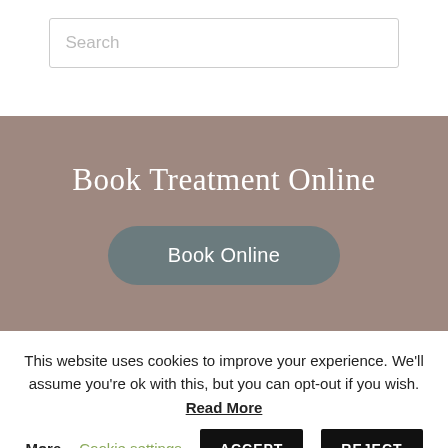[Figure (screenshot): Search input box with placeholder text 'Search']
Book Treatment Online
[Figure (other): Book Online button, dark grey rounded rectangle]
This website uses cookies to improve your experience. We'll assume you're ok with this, but you can opt-out if you wish. Read More
Cookie settings | ACCEPT | REJECT